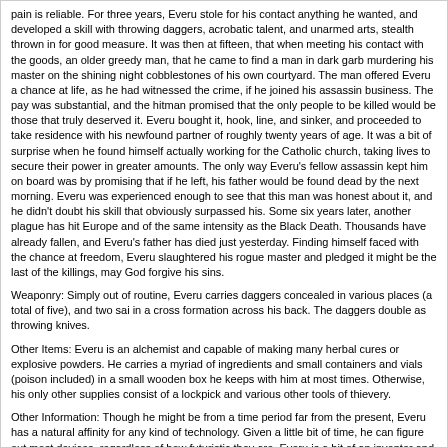pain is reliable. For three years, Everu stole for his contact anything he wanted, and developed a skill with throwing daggers, acrobatic talent, and unarmed arts, stealth thrown in for good measure. It was then at fifteen, that when meeting his contact with the goods, an older greedy man, that he came to find a man in dark garb murdering his master on the shining night cobblestones of his own courtyard. The man offered Everu a chance at life, as he had witnessed the crime, if he joined his assassin business. The pay was substantial, and the hitman promised that the only people to be killed would be those that truly deserved it. Everu bought it, hook, line, and sinker, and proceeded to take residence with his newfound partner of roughly twenty years of age. It was a bit of surprise when he found himself actually working for the Catholic church, taking lives to secure their power in greater amounts. The only way Everu's fellow assassin kept him on board was by promising that if he left, his father would be found dead by the next morning. Everu was experienced enough to see that this man was honest about it, and he didn't doubt his skill that obviously surpassed his. Some six years later, another plague has hit Europe and of the same intensity as the Black Death. Thousands have already fallen, and Everu's father has died just yesterday. Finding himself faced with the chance at freedom, Everu slaughtered his rogue master and pledged it might be the last of the killings, may God forgive his sins.
Weaponry: Simply out of routine, Everu carries daggers concealed in various places (a total of five), and two sai in a cross formation across his back. The daggers double as throwing knives.
Other Items: Everu is an alchemist and capable of making many herbal cures or explosive powders. He carries a myriad of ingredients and small containers and vials (poison included) in a small wooden box he keeps with him at most times. Otherwise, his only other supplies consist of a lockpick and various other tools of thievery.
Other Information: Though he might be from a time period far from the present, Everu has a natural affinity for any kind of technology. Given a little bit of time, he can figure out most devices, regardless of how futuristic they are. Everu is a bit of an inventor and scientist, and finds it easy to grasp most concepts relating to these fields.
===================